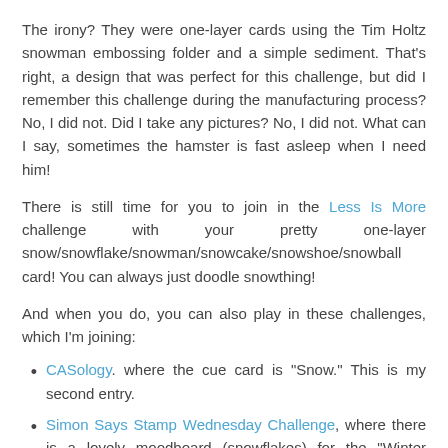The irony? They were one-layer cards using the Tim Holtz snowman embossing folder and a simple sediment. That's right, a design that was perfect for this challenge, but did I remember this challenge during the manufacturing process? No, I did not. Did I take any pictures? No, I did not. What can I say, sometimes the hamster is fast asleep when I need him!
There is still time for you to join in the Less Is More challenge with your pretty one-layer snow/snowflake/snowman/snowcake/snowshoe/snowball card! You can always just doodle snowthing!
And when you do, you can also play in these challenges, which I'm joining:
CASology. where the cue card is "Snow." This is my second entry.
Simon Says Stamp Wednesday Challenge, where there is a lovely moodboard (snowflakes) for the "Winter Inspiration" brief.